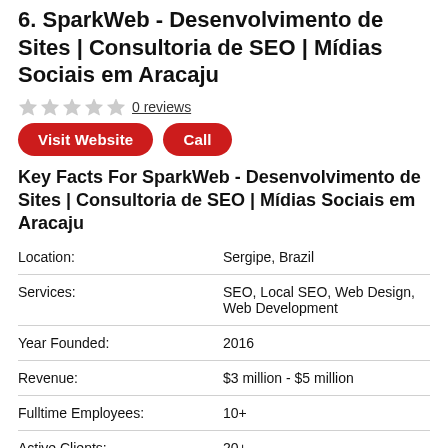6. SparkWeb - Desenvolvimento de Sites | Consultoria de SEO | Mídias Sociais em Aracaju
0 reviews
| Field | Value |
| --- | --- |
| Location: | Sergipe, Brazil |
| Services: | SEO, Local SEO, Web Design, Web Development |
| Year Founded: | 2016 |
| Revenue: | $3 million - $5 million |
| Fulltime Employees: | 10+ |
| Active Clients: | 20+ |
| Client Retention Rate: | 81 |